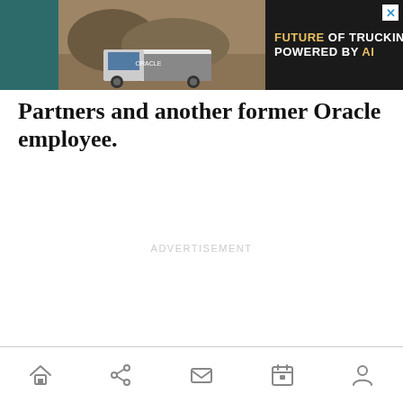[Figure (screenshot): Advertisement banner for trucking AI service. Dark teal background with a truck image on the left and dark background with text 'FUTURE OF TRUCKING POWERED BY AI' on the right, with a G+Plus logo. Close button (X) in top right corner.]
Partners and another former Oracle employee.
ADVERTISEMENT
[Figure (other): Bottom navigation bar with icons: home, share, mail, calendar, and person/account icons.]